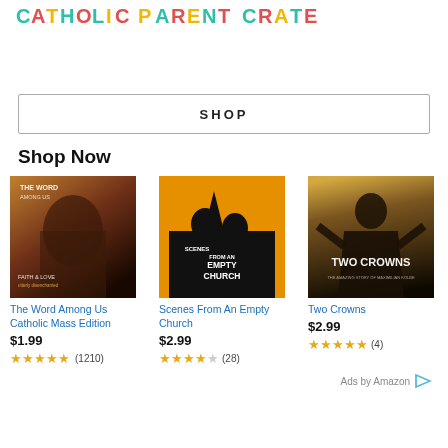CATHOLIC PARENT CRATE
SHOP
Shop Now
[Figure (photo): Book cover: The Word Among Us Catholic Mass Edition]
The Word Among Us Catholic Mass Edition
$1.99
★★★★★ (1210)
[Figure (photo): DVD cover: Scenes From An Empty Church]
Scenes From An Empty Church
$2.99
★★★★☆ (28)
[Figure (photo): DVD cover: Two Crowns]
Two Crowns
$2.99
★★★★★ (4)
Ads by Amazon